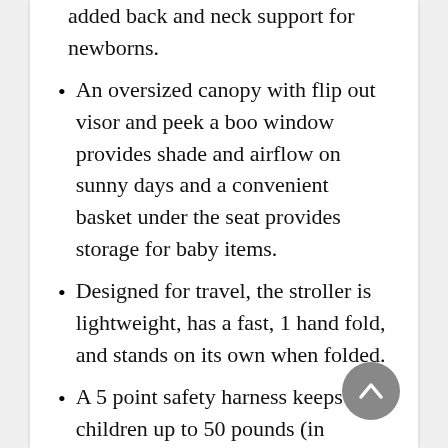added back and neck support for newborns.
An oversized canopy with flip out visor and peek a boo window provides shade and airflow on sunny days and a convenient basket under the seat provides storage for baby items.
Designed for travel, the stroller is lightweight, has a fast, 1 hand fold, and stands on its own when folded.
A 5 point safety harness keeps children up to 50 pounds (in stroller mode) or up to 35 pounds (in car seat mode) safe and secure, with adjustable harness heights to provide a customized fit.